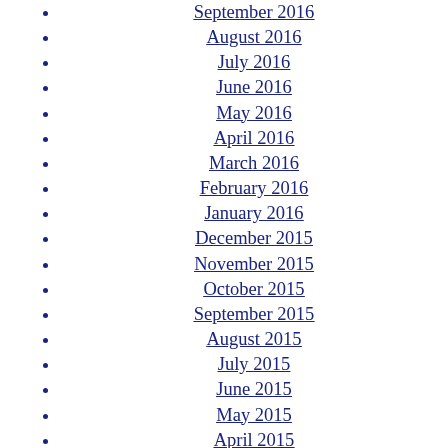September 2016
August 2016
July 2016
June 2016
May 2016
April 2016
March 2016
February 2016
January 2016
December 2015
November 2015
October 2015
September 2015
August 2015
July 2015
June 2015
May 2015
April 2015
March 2015
February 2015
January 2015
December 2014